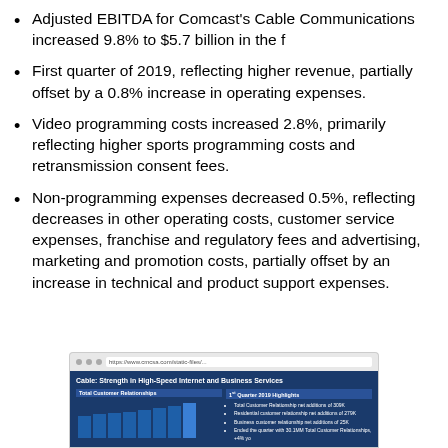Adjusted EBITDA for Comcast's Cable Communications increased 9.8% to $5.7 billion in the f
First quarter of 2019, reflecting higher revenue, partially offset by a 0.8% increase in operating expenses.
Video programming costs increased 2.8%, primarily reflecting higher sports programming costs and retransmission consent fees.
Non-programming expenses decreased 0.5%, reflecting decreases in other operating costs, customer service expenses, franchise and regulatory fees and advertising, marketing and promotion costs, partially offset by an increase in technical and product support expenses.
[Figure (screenshot): Screenshot of a slide titled 'Cable: Strength in High-Speed Internet and Business Services' showing a bar chart of Total Customer Relationships and Q1 2019 Highlights text on a dark blue background.]